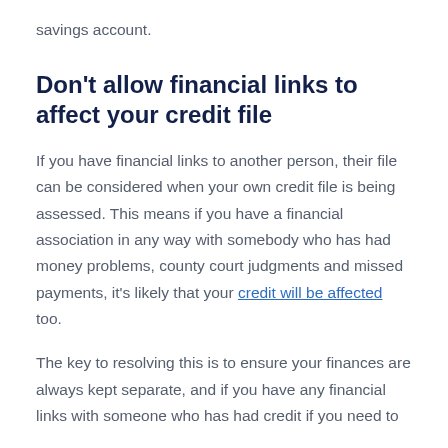savings account.
Don't allow financial links to affect your credit file
If you have financial links to another person, their file can be considered when your own credit file is being assessed. This means if you have a financial association in any way with somebody who has had money problems, county court judgments and missed payments, it's likely that your credit will be affected too.
The key to resolving this is to ensure your finances are always kept separate, and if you have any financial links with someone who has had credit if you need to